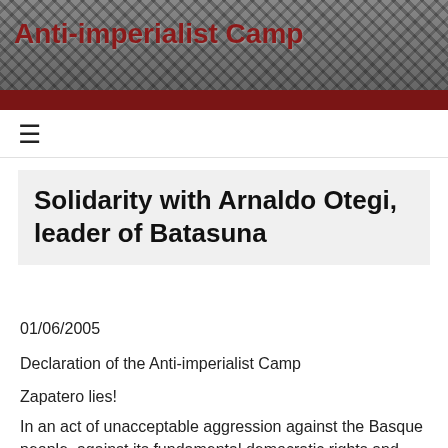Anti-imperialist Camp
Solidarity with Arnaldo Otegi, leader of Batasuna
01/06/2005
Declaration of the Anti-imperialist Camp
Zapatero lies!
In an act of unacceptable aggression against the Basque people, against its fundamental democratic rights and against a negotiated political solution of the armed conflict in Euskal Herria the Social Democrat government of Luis Rodràguez Zapatero detained the